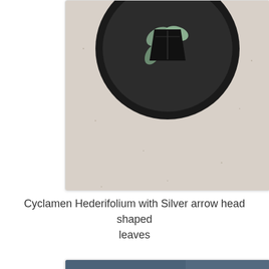[Figure (photo): Top-down view of a Cyclamen plant with silver arrow head shaped leaves in a black pot on a light speckled surface]
Cyclamen Hederifolium with Silver arrow head shaped leaves
[Figure (photo): A Cyclamen plant with round variegated green leaves with silver markings in an orange pot, with a handwritten price tag showing £4.50, against a blue background]